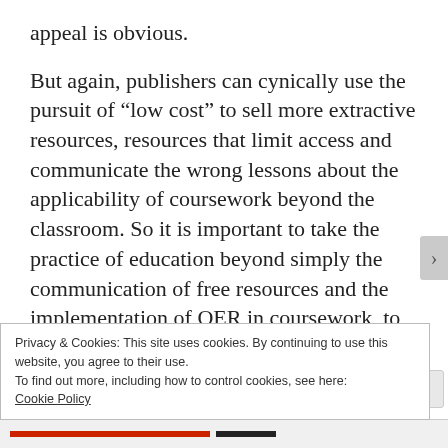appeal is obvious.
But again, publishers can cynically use the pursuit of “low cost” to sell more extractive resources, resources that limit access and communicate the wrong lessons about the applicability of coursework beyond the classroom. So it is important to take the practice of education beyond simply the communication of free resources and the implementation of OER in coursework, to
Privacy & Cookies: This site uses cookies. By continuing to use this website, you agree to their use.
To find out more, including how to control cookies, see here:
Cookie Policy
Close and accept